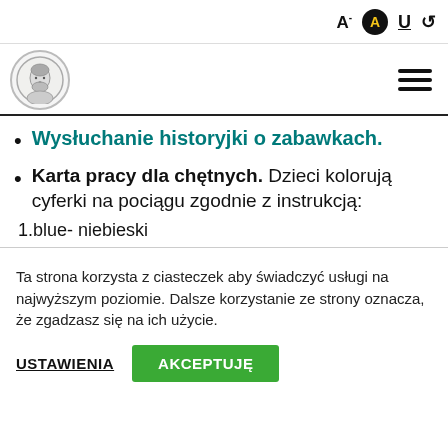Toolbar with font size controls and accessibility icons
[Figure (logo): Circular logo with portrait illustration of a bearded man]
Wysłuchanie historyjki o zabawkach.
Karta pracy dla chętnych. Dzieci kolorują cyferki na pociągu zgodnie z instrukcją:
1.blue- niebieski
Ta strona korzysta z ciasteczek aby świadczyć usługi na najwyższym poziomie. Dalsze korzystanie ze strony oznacza, że zgadzasz się na ich użycie.
USTAWIENIA   AKCEPTUJĘ